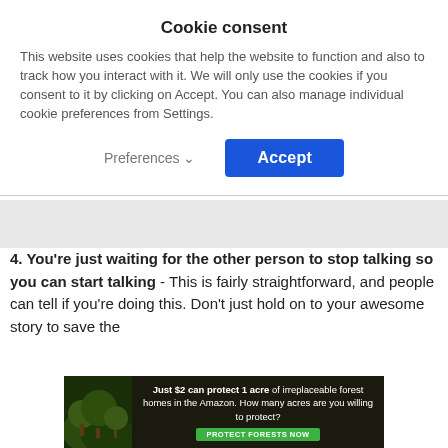Cookie consent
This website uses cookies that help the website to function and also to track how you interact with it. We will only use the cookies if you consent to it by clicking on Accept. You can also manage individual cookie preferences from Settings.
Preferences  Accept
4. You're just waiting for the other person to stop talking so you can start talking - This is fairly straightforward, and people can tell if you're doing this. Don't just hold on to your awesome story to save the
[Figure (infographic): Advertisement banner: Just $2 can protect 1 acre of irreplaceable forest homes in the Amazon. How many acres are you willing to protect? PROTECT FORESTS NOW]